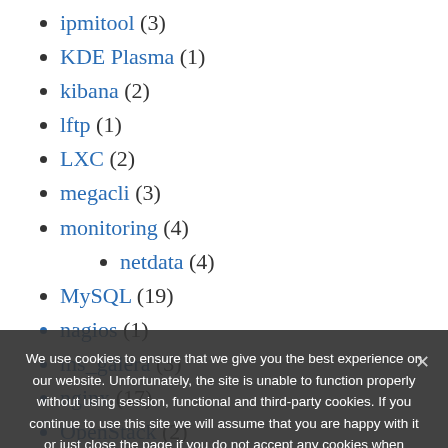ipmitool (3)
KDE Plasma (1)
kibana (2)
lftp (1)
LXC (2)
megacli (3)
monitoring (4)
netdata (4)
MySQL (19)
nagios (1)
ms_galera (3)
nginx (17)
OpenStack (2)
OpenVPN (1)
podman (5)
We use cookies to ensure that we give you the best experience on our website. Unfortunately, the site is unable to function properly without using session, functional and third-party cookies. If you continue to use this site we will assume that you are happy with it or just close the page if you do not accept any cookies when viewing our site!